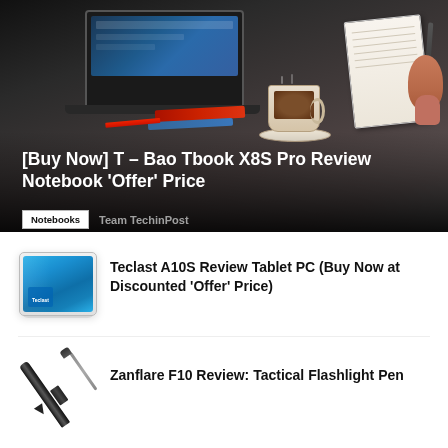[Figure (photo): Hero image of a desk workspace with a laptop, coffee cup, notebook, and pens/markers on a dark surface]
[Buy Now] T – Bao Tbook X8S Pro Review Notebook 'Offer' Price
Notebooks   Team TechinPost
[Figure (photo): Thumbnail image of a Teclast A10S tablet showing a blue tablet device]
Teclast A10S Review Tablet PC (Buy Now at Discounted 'Offer' Price)
[Figure (photo): Thumbnail image of a black tactical flashlight pen (Zanflare F10) on white background]
Zanflare F10 Review: Tactical Flashlight Pen